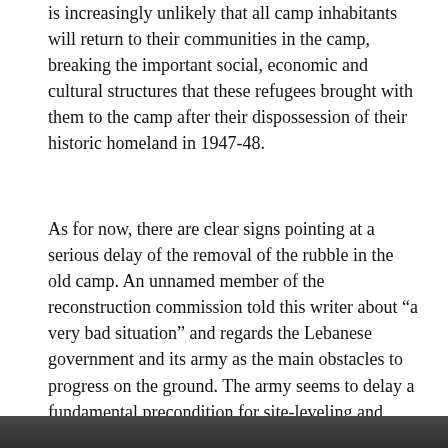is increasingly unlikely that all camp inhabitants will return to their communities in the camp, breaking the important social, economic and cultural structures that these refugees brought with them to the camp after their dispossession of their historic homeland in 1947-48.
As for now, there are clear signs pointing at a serious delay of the removal of the rubble in the old camp. An unnamed member of the reconstruction commission told this writer about “a very bad situation” and regards the Lebanese government and its army as the main obstacles to progress on the ground. The army seems to delay a fundamental precondition for site-leveling and rubble removal: permitting the residents to visit the ruins of their homes and collect whatever remains of their belongings. The rubble removal hasn’t started yet and it’s very difficult to imagine that the time between now and mid-August will be enough time to accomplish this task.
[Figure (photo): Partial view of a dark-toned photograph at the bottom of the page, cropped.]